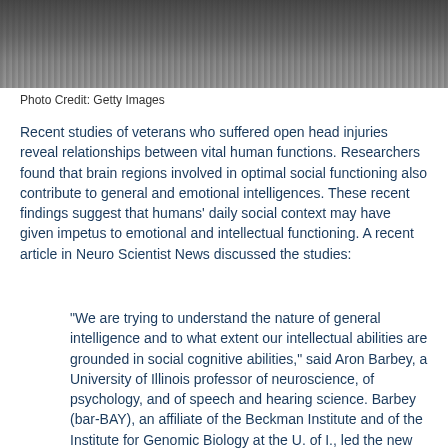[Figure (photo): Black and white photograph, partially visible at top of page showing people, cropped]
Photo Credit: Getty Images
Recent studies of veterans who suffered open head injuries reveal relationships between vital human functions. Researchers found that brain regions involved in optimal social functioning also contribute to general and emotional intelligences. These recent findings suggest that humans' daily social context may have given impetus to emotional and intellectual functioning. A recent article in Neuro Scientist News discussed the studies:
"We are trying to understand the nature of general intelligence and to what extent our intellectual abilities are grounded in social cognitive abilities," said Aron Barbey, a University of Illinois professor of neuroscience, of psychology, and of speech and hearing science. Barbey (bar-BAY), an affiliate of the Beckman Institute and of the Institute for Genomic Biology at the U. of I., led the new study with an international team of collaborators.